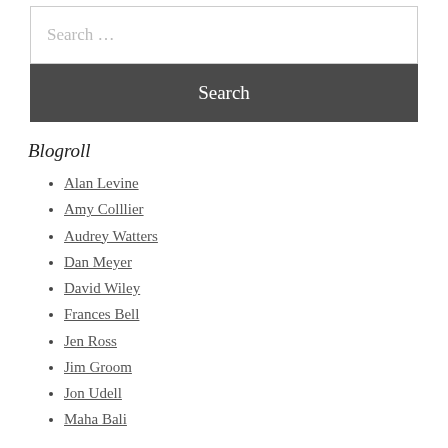Search ...
Search
Blogroll
Alan Levine
Amy Colllier
Audrey Watters
Dan Meyer
David Wiley
Frances Bell
Jen Ross
Jim Groom
Jon Udell
Maha Bali